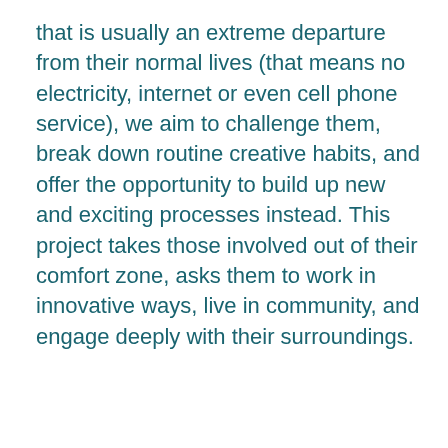that is usually an extreme departure from their normal lives (that means no electricity, internet or even cell phone service), we aim to challenge them, break down routine creative habits, and offer the opportunity to build up new and exciting processes instead. This project takes those involved out of their comfort zone, asks them to work in innovative ways, live in community, and engage deeply with their surroundings.